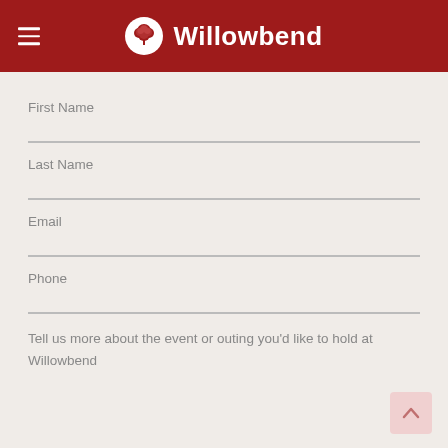Willowbend
First Name
Last Name
Email
Phone
Tell us more about the event or outing you'd like to hold at Willowbend